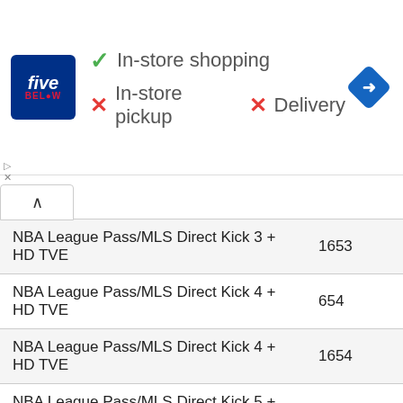[Figure (infographic): Five Below store advertisement banner showing in-store shopping available (checkmark), in-store pickup unavailable (X), and delivery unavailable (X), with a blue navigation icon on the right.]
| Package Name | Channel |
| --- | --- |
| NBA League Pass/MLS Direct Kick 3 + HD TVE | 1653 |
| NBA League Pass/MLS Direct Kick 4 + HD TVE | 654 |
| NBA League Pass/MLS Direct Kick 4 + HD TVE | 1654 |
| NBA League Pass/MLS Direct Kick 5 + HD TVE | 655 |
| NBA League Pass/MLS Direct Kick 5 + HD TVE | 1655 |
| NBA League Pass/MLS Direct Kick 6 + HD TVE | 656 |
| NBA League Pass/MLS Direct Kick 6 + HD TVE | 1656 |
| NBA League Pass/MLS Direct Kick 7 + HD TVE | 657 |
| NBA League Pass/MLS Direct Kick 7 + HD TVE | 1657 |